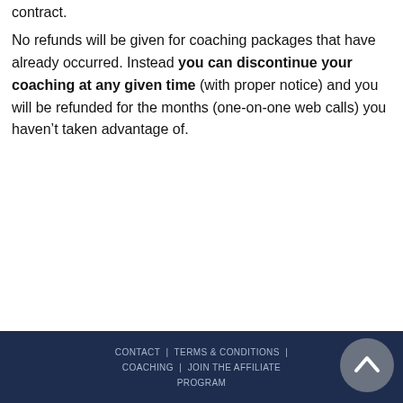contract.
No refunds will be given for coaching packages that have already occurred. Instead you can discontinue your coaching at any given time (with proper notice) and you will be refunded for the months (one-on-one web calls) you haven't taken advantage of.
CONTACT | TERMS & CONDITIONS | COACHING | JOIN THE AFFILIATE PROGRAM